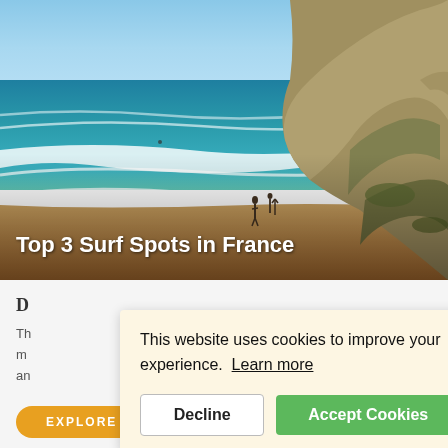[Figure (photo): Aerial coastal photo showing a sandy beach with turquoise ocean waves, rocky cliffs on the right, and clear blue sky. Two people visible on the beach. Title overlay reads 'Top 3 Surf Spots in France'.]
Top 3 Surf Spots in France
D
Th m an
This website uses cookies to improve your experience. Learn more
Decline
Accept Cookies
EXPLORE